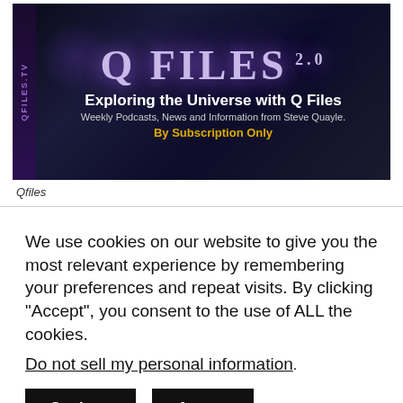[Figure (screenshot): Q Files 2.0 banner — dark blue/purple space-themed header with 'Q FILES 2.0' title, subtitle 'Exploring the Universe with Q Files', tagline 'Weekly Podcasts, News and Information from Steve Quayle.', and 'By Subscription Only' in gold. Left side has vertical 'QFILES.TV' text in purple.]
Qfiles
We use cookies on our website to give you the most relevant experience by remembering your preferences and repeat visits. By clicking “Accept”, you consent to the use of ALL the cookies.
Do not sell my personal information.
Settings    Accept